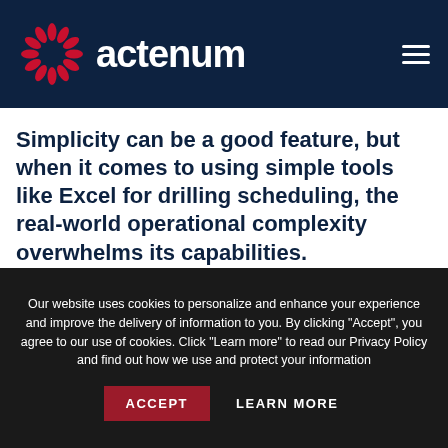actenum
Simplicity can be a good feature, but when it comes to using simple tools like Excel for drilling scheduling, the real-world operational complexity overwhelms its capabilities.
Our website uses cookies to personalize and enhance your experience and improve the delivery of information to you. By clicking "Accept", you agree to our use of cookies. Click "Learn more" to read our Privacy Policy and find out how we use and protect your information